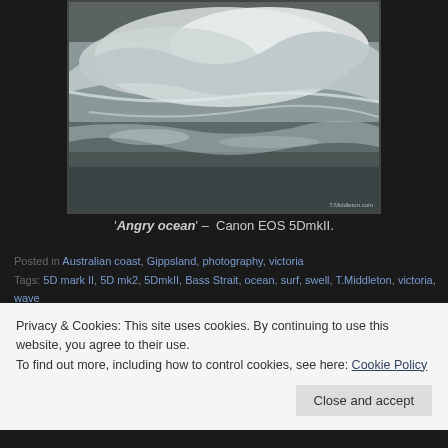[Figure (photo): Photograph of angry ocean waves crashing on a dark beach shoreline, showing white foam and turbulent water. Watermark 'T.Middleton.com' in bottom right corner.]
'Angry ocean' – Canon EOS 5DmkII.
Posted in Australian coast, Gippsland, photography, victoria
Tags: 5D mark II, 5D mk2, 5DmkII, Bass Strait, ocean, surf, swell, T.Middleton, victoria, wave
Privacy & Cookies: This site uses cookies. By continuing to use this website, you agree to their use.
To find out more, including how to control cookies, see here: Cookie Policy
Close and accept